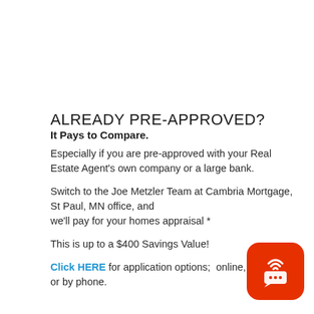ALREADY PRE-APPROVED?
It Pays to Compare.
Especially if you are pre-approved with your Real Estate Agent's own company or a large bank.
Switch to the Joe Metzler Team at Cambria Mortgage, St Paul, MN office, and we'll pay for your homes appraisal *
This is up to a $400 Savings Value!
Click HERE for application options;  online, in office, or by phone.
[Figure (logo): Orange rounded square icon with wireless/chat signal symbol and ellipsis dots]